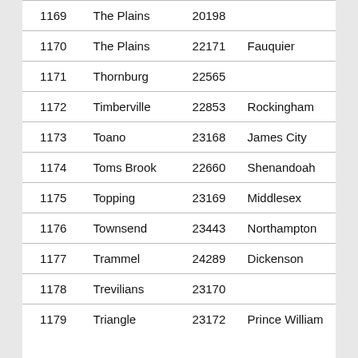| 1169 | The Plains | 20198 |  |
| 1170 | The Plains | 22171 | Fauquier |
| 1171 | Thornburg | 22565 |  |
| 1172 | Timberville | 22853 | Rockingham |
| 1173 | Toano | 23168 | James City |
| 1174 | Toms Brook | 22660 | Shenandoah |
| 1175 | Topping | 23169 | Middlesex |
| 1176 | Townsend | 23443 | Northampton |
| 1177 | Trammel | 24289 | Dickenson |
| 1178 | Trevilians | 23170 |  |
| 1179 | Triangle | 23172 | Prince William |